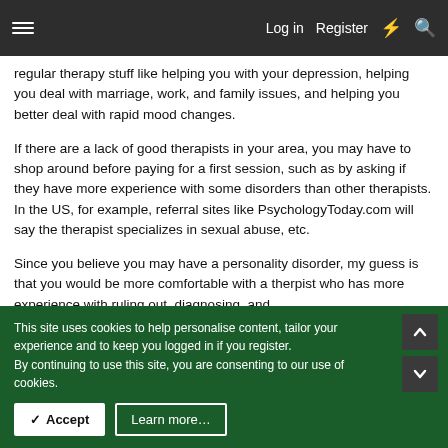Log in  Register
regular therapy stuff like helping you with your depression, helping you deal with marriage, work, and family issues, and helping you better deal with rapid mood changes.
If there are a lack of good therapists in your area, you may have to shop around before paying for a first session, such as by asking if they have more experience with some disorders than other therapists. In the US, for example, referral sites like PsychologyToday.com will say the therapist specializes in sexual abuse, etc.
Since you believe you may have a personality disorder, my guess is that you would be more comfortable with a therpist who has more experience with ruling out, diagnosing, and
This site uses cookies to help personalise content, tailor your experience and to keep you logged in if you register.
By continuing to use this site, you are consenting to our use of cookies.
✓ Accept   Learn more…